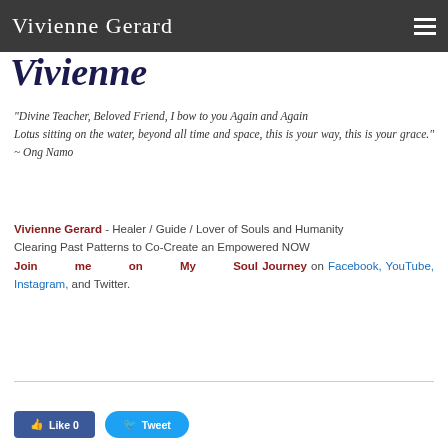Vivienne Gerard
Vivienne
"Divine Teacher, Beloved Friend, I bow to you Again and Again
Lotus sitting on the water, beyond all time and space, this is your way, this is your grace." ~ Ong Namo
Vivienne Gerard - Healer / Guide / Lover of Souls and Humanity
Clearing Past Patterns to Co-Create an Empowered NOW
Join me on My Soul Journey on Facebook, YouTube, Instagram, and Twitter.
[Figure (other): Facebook Like button and Twitter Tweet button]
Like 0  Tweet